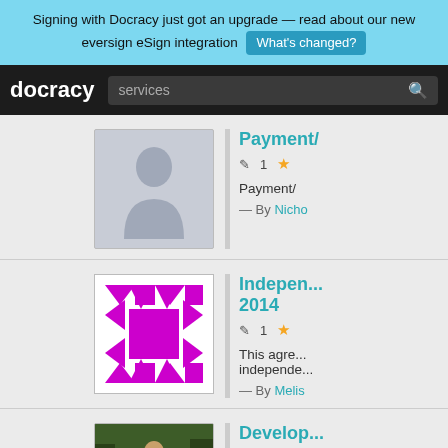Signing with Docracy just got an upgrade — read about our new eversign eSign integration  What's changed?
docracy  services [search]
Payment/...
✏ 1  ★
Payment/...
— By Nicho...
Indepen... 2014
✏ 1  ★
This agre... independe...
— By Melis...
Develop...
✏ 1  ★